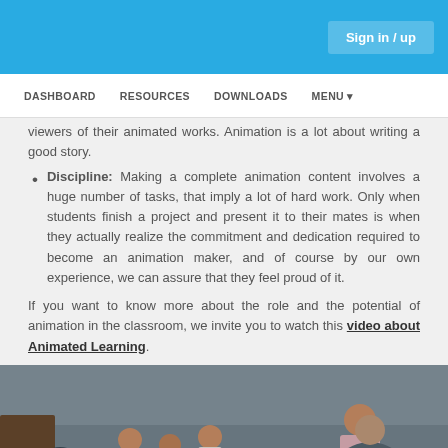Sign in / up
DASHBOARD  RESOURCES  DOWNLOADS  MENU
viewers of their animated works. Animation is a lot about writing a good story.
Discipline: Making a complete animation content involves a huge number of tasks, that imply a lot of hard work. Only when students finish a project and present it to their mates is when they actually realize the commitment and dedication required to become an animation maker, and of course by our own experience, we can assure that they feel proud of it.
If you want to know more about the role and the potential of animation in the classroom, we invite you to watch this video about Animated Learning.
[Figure (photo): Children sitting and looking at tablets or books in a classroom setting, with adults nearby]